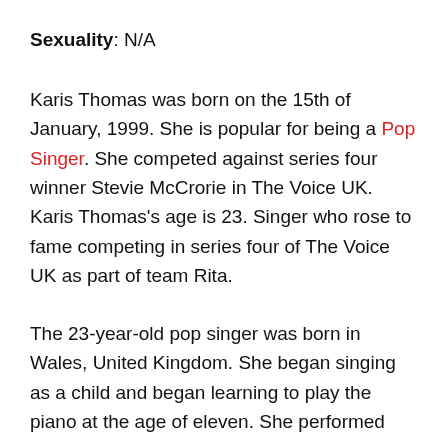Sexuality: N/A
Karis Thomas was born on the 15th of January, 1999. She is popular for being a Pop Singer. She competed against series four winner Stevie McCrorie in The Voice UK. Karis Thomas's age is 23. Singer who rose to fame competing in series four of The Voice UK as part of team Rita.
The 23-year-old pop singer was born in Wales, United Kingdom. She began singing as a child and began learning to play the piano at the age of eleven. She performed